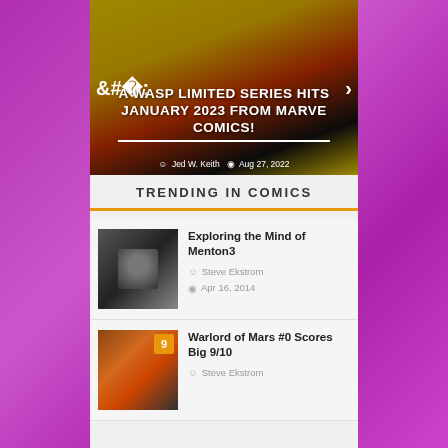[Figure (photo): Hero banner image showing a comic book character (Wasp) in yellow and red costume with overlaid text]
A WASP LIMITED SERIES HITS JANUARY 2023 FROM MARVEL COMICS!
Jed W. Keith  Aug 27, 2022
TRENDING IN COMICS
Exploring the Mind of Menton3
Steve Ekstrom  Apr 16, 2014
[Figure (photo): Dark moody portrait photo of a man's face for Menton3 article]
Warlord of Mars #0 Scores Big 9/10
Steve Ekstrom
[Figure (photo): Warlord of Mars comic book cover with score badge 9]